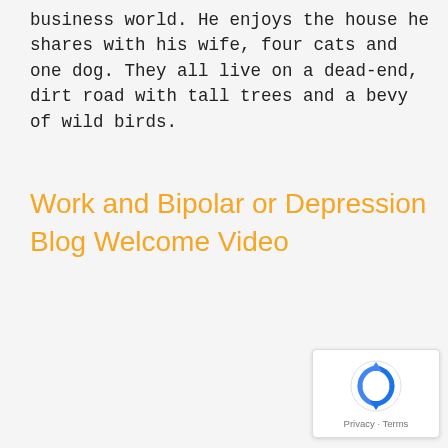business world. He enjoys the house he shares with his wife, four cats and one dog. They all live on a dead-end, dirt road with tall trees and a bevy of wild birds.
Work and Bipolar or Depression Blog Welcome Video
[Figure (other): reCAPTCHA badge with Privacy and Terms links]